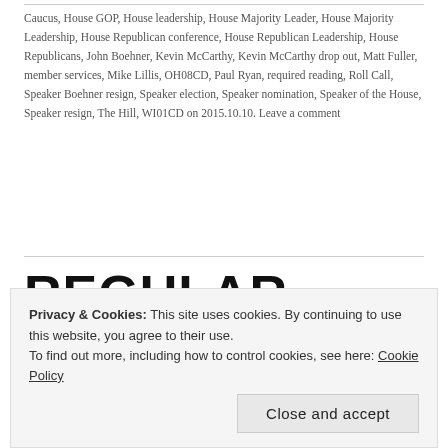Caucus, House GOP, House leadership, House Majority Leader, House Majority Leadership, House Republican conference, House Republican Leadership, House Republicans, John Boehner, Kevin McCarthy, Kevin McCarthy drop out, Matt Fuller, member services, Mike Lillis, OH08CD, Paul Ryan, required reading, Roll Call, Speaker Boehner resign, Speaker election, Speaker nomination, Speaker of the House, Speaker resign, The Hill, WI01CD on 2015.10.10. Leave a comment
REGULAR CHAOS
Privacy & Cookies: This site uses cookies. By continuing to use this website, you agree to their use. To find out more, including how to control cookies, see here: Cookie Policy